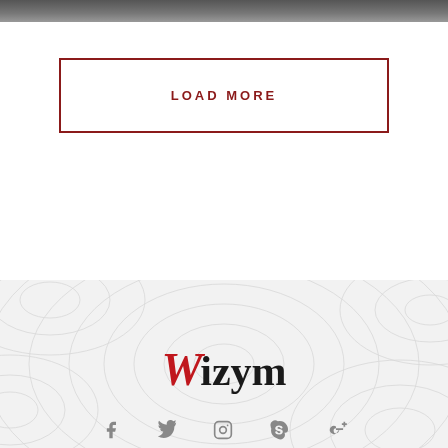[Figure (photo): Dark blurred image strip at top of page]
LOAD MORE
[Figure (logo): Wizym logo with red W and black izym text, on a light gray topographic pattern footer background]
[Figure (other): Row of social media icons: Facebook, Twitter, Instagram, Skype, Google+]